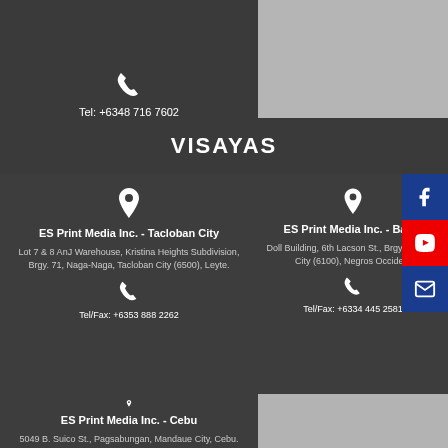Tel: +6348 716 7602
VISAYAS
ES Print Media Inc. - Tacloban City
Lot 7 & 8 AnJ Warehouse, Kristina Heights Subdivision, Brgy. 71, Naga-Naga, Tacloban City (6500), Leyte.
Tel/Fax: +6353 888 2262
ES Print Media Inc. - Bacolod
Doll Building, 6th Lacson St., Brgy. Bacolod City (6100), Negros Occide...
Tel/Fax: +6334 445 2581
ES Print Media Inc. - Cebu
5049 B. Suico St., Pagsabungan, Mandaue City, Cebu.